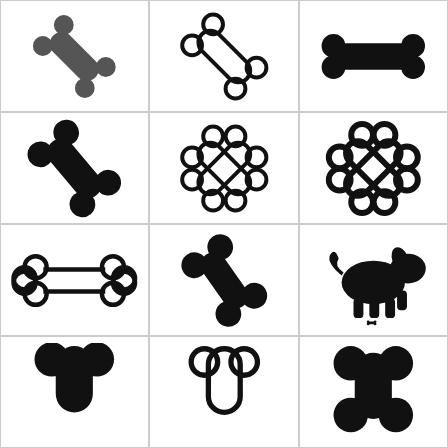[Figure (illustration): Dark gray dog bone icon, diagonal orientation, solid fill]
[Figure (illustration): Black outline dog bone icon, diagonal orientation, outline style]
[Figure (illustration): Black solid dog bone icon, horizontal orientation, solid fill]
[Figure (illustration): Black solid dog bone icon, diagonal orientation, large solid fill]
[Figure (illustration): Black outline crossed bones icon, diagonal X pattern, outline style]
[Figure (illustration): Black outline crossed bones icon, bold outline X pattern]
[Figure (illustration): Black outline dog bone icon, horizontal, double-rail outline style]
[Figure (illustration): Black solid dog bone icon, diagonal orientation, large solid fill]
[Figure (illustration): Black solid dog with small bone icon, dog silhouette with bone near feet]
[Figure (illustration): Partial view - black solid bone icon (bottom row, left)]
[Figure (illustration): Partial view - black outline bone icon (bottom row, center)]
[Figure (illustration): Partial view - black bone icon (bottom row, right)]